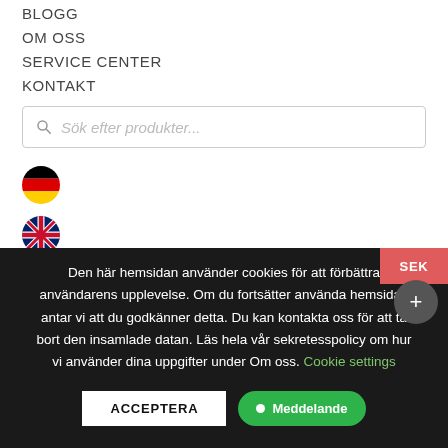BLOGG
OM OSS
SERVICE CENTER
KONTAKT
Sök efter produkter...
[Figure (illustration): German flag circle icon]
[Figure (illustration): UK flag circle icon]
Den här hemsidan använder cookies för att förbättra användarens upplevelse. Om du fortsätter använda hemsidan antar vi att du godkänner detta. Du kan kontakta oss för att ta bort den insamlade datan. Läs hela vår sekretesspolicy om hur vi använder dina uppgifter under Om oss. Cookie settings
ACCEPTERA
Meddelande